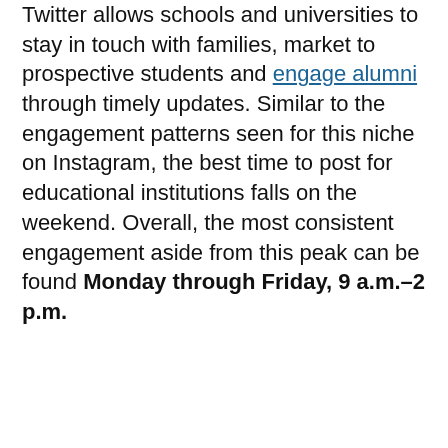Twitter allows schools and universities to stay in touch with families, market to prospective students and engage alumni through timely updates. Similar to the engagement patterns seen for this niche on Instagram, the best time to post for educational institutions falls on the weekend. Overall, the most consistent engagement aside from this peak can be found Monday through Friday, 9 a.m.–2 p.m.
[Figure (other): Pagination dots row: one filled circle, one empty circle, one small filled square, one small filled square]
We use cookies on our website to give you the most relevant experience by remembering your preferences and repeat visits. By clicking "Accept", you consent to the use of ALL the cookies.
Do not sell my personal information.